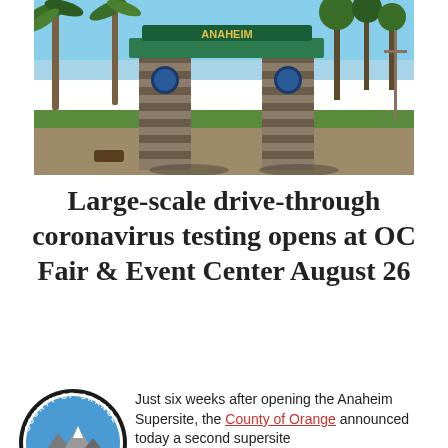[Figure (photo): Outdoor entrance arch to OC Fair & Event Center / Anaheim with stone pillars, green beam, palm trees, and gravel ground under blue sky.]
Large-scale drive-through coronavirus testing opens at OC Fair & Event Center August 26
[Figure (logo): County of Orange circular seal/logo with landscape imagery]
Just six weeks after opening the Anaheim Supersite, the County of Orange announced today a second supersite